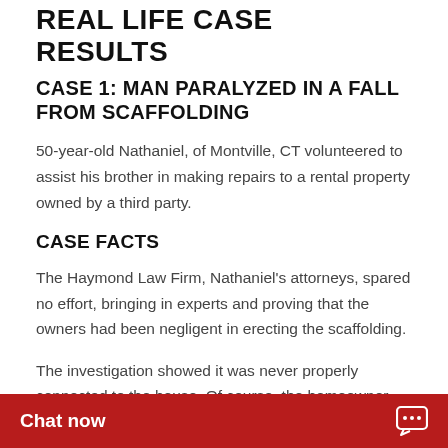REAL LIFE CASE RESULTS
CASE 1: MAN PARALYZED IN A FALL FROM SCAFFOLDING
50-year-old Nathaniel, of Montville, CT volunteered to assist his brother in making repairs to a rental property owned by a third party.
CASE FACTS
The Haymond Law Firm, Nathaniel’s attorneys, spared no effort, bringing in experts and proving that the owners had been negligent in erecting the scaffolding.
The investigation showed it was never properly connected to the house. Of course, the homeowner denied responsibility for the accident and provided a witness to support their claim. Early offer of settlement of $400,00
Chat now